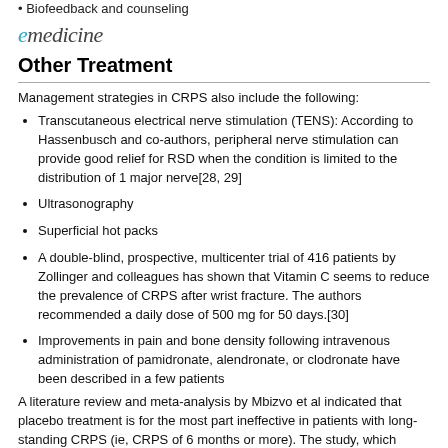Biofeedback and counseling
emedicine
Other Treatment
Management strategies in CRPS also include the following:
Transcutaneous electrical nerve stimulation (TENS): According to Hassenbusch and co-authors, peripheral nerve stimulation can provide good relief for RSD when the condition is limited to the distribution of 1 major nerve[28, 29]
Ultrasonography
Superficial hot packs
A double-blind, prospective, multicenter trial of 416 patients by Zollinger and colleagues has shown that Vitamin C seems to reduce the prevalence of CRPS after wrist fracture. The authors recommended a daily dose of 500 mg for 50 days.[30]
Improvements in pain and bone density following intravenous administration of pamidronate, alendronate, or clodronate have been described in a few patients
A literature review and meta-analysis by Mbizvo et al indicated that placebo treatment is for the most part ineffective in patients with long-standing CRPS (ie, CRPS of 6 months or more). The study, which encompassed 18 trials (340 patients), found that although patients did demonstrate a significant placebo response during the first 15-30 minutes of treatment, at the other